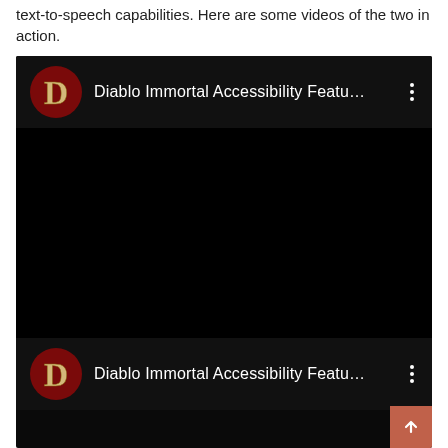text-to-speech capabilities. Here are some videos of the two in action.
[Figure (screenshot): Two YouTube-style video thumbnails on a black background, both titled 'Diablo Immortal Accessibility Featu...' with a Diablo 'D' logo icon on the left of each row, and a three-dot menu icon on the right. A red scroll-to-top button appears in the bottom-right corner.]